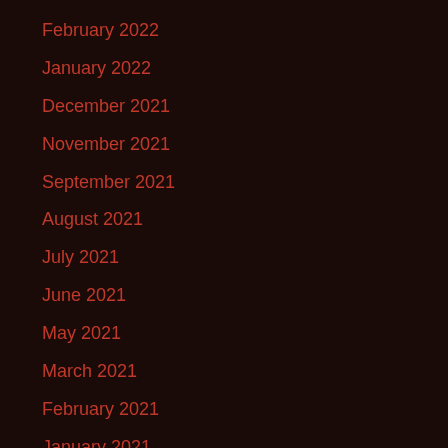February 2022
January 2022
December 2021
November 2021
September 2021
August 2021
July 2021
June 2021
May 2021
March 2021
February 2021
January 2021
December 2020
October 2020
September 2020